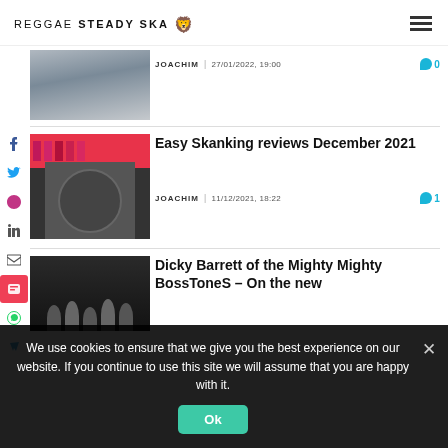REGGAE STEADY SKA
[Figure (photo): Portrait photo of a man, partially visible, cropped at top]
JOACHIM | 27/01/2022, 19:00  0
Easy Skanking reviews December 2021
[Figure (photo): Black and white poster/image of a person with headphones]
JOACHIM | 11/12/2021, 18:22  1
Dicky Barrett of the Mighty Mighty BossToneS – On the new
[Figure (photo): Dark photo of a band group]
We use cookies to ensure that we give you the best experience on our website. If you continue to use this site we will assume that you are happy with it.